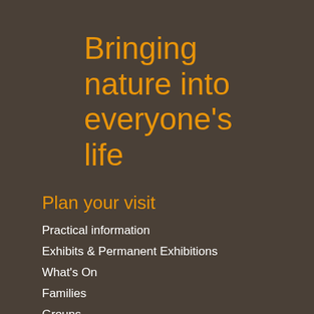Bringing nature into everyone's life
Plan your visit
Practical information
Exhibits & Permanent Exhibitions
What's On
Families
Groups
Schools
Calendar
MuseumShop
Contact us